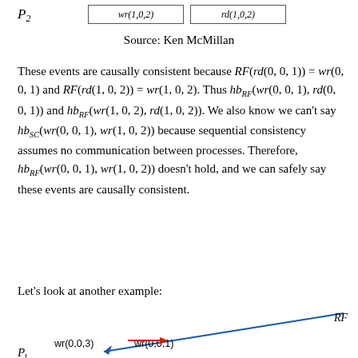P2
Source: Ken McMillan
These events are causally consistent because RF(rd(0,0,1)) = wr(0,0,1) and RF(rd(1,0,2)) = wr(1,0,2). Thus hb_RF(wr(0,0,1),rd(0,0,1)) and hb_RF(wr(1,0,2),rd(1,0,2)). We also know we can't say hb_SC(wr(0,0,1),wr(1,0,2)) because sequential consistency assumes no communication between processes. Therefore, hb_RF(wr(0,0,1),wr(1,0,2)) doesn't hold, and we can safely say these events are causally consistent.
Let's look at another example:
[Figure (engineering-diagram): Diagram showing wr(0,0,3), wr(0,0,1) with a blue diagonal line labeled RF and a red arrow. P1 label partially visible at bottom.]